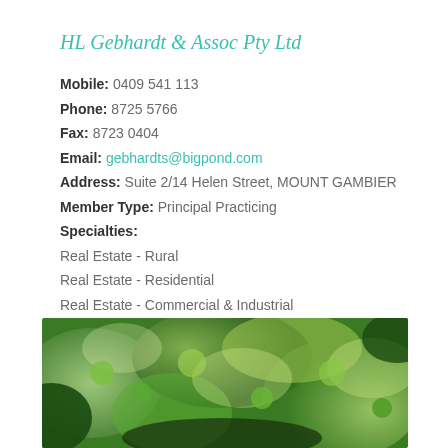HL Gebhardt & Assoc Pty Ltd
Mobile: 0409 541 113
Phone: 87255766
Fax: 87230404
Email: gebhardts@bigpond.com
Address: Suite 2/14 Helen Street, MOUNT GAMBIER
Member Type: Principal Practicing
Specialties:
Real Estate - Rural
Real Estate - Residential
Real Estate - Commercial & Industrial
[Figure (photo): Close-up photograph of green leafy plants/foliage, blurred background]